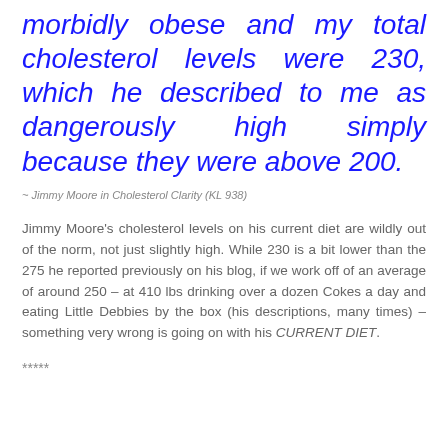morbidly obese and my total cholesterol levels were 230, which he described to me as dangerously high simply because they were above 200.
~ Jimmy Moore in Cholesterol Clarity (KL 938)
Jimmy Moore's cholesterol levels on his current diet are wildly out of the norm, not just slightly high. While 230 is a bit lower than the 275 he reported previously on his blog, if we work off of an average of around 250 – at 410 lbs drinking over a dozen Cokes a day and eating Little Debbies by the box (his descriptions, many times) – something very wrong is going on with his CURRENT DIET.
*****